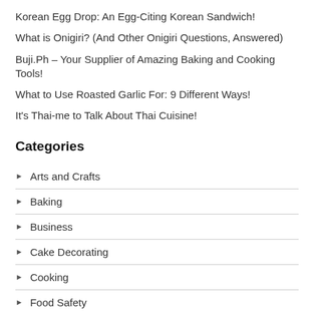Korean Egg Drop: An Egg-Citing Korean Sandwich!
What is Onigiri? (And Other Onigiri Questions, Answered)
Buji.Ph – Your Supplier of Amazing Baking and Cooking Tools!
What to Use Roasted Garlic For: 9 Different Ways!
It's Thai-me to Talk About Thai Cuisine!
Categories
Arts and Crafts
Baking
Business
Cake Decorating
Cooking
Food Safety